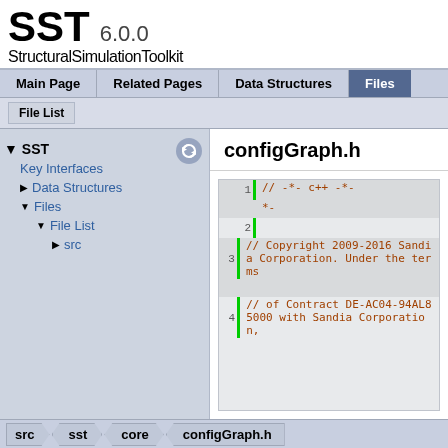SST 6.0.0 StructuralSimulationToolkit
Main Page | Related Pages | Data Structures | Files
File List
SST
  Key Interfaces
  Data Structures
  Files
    File List
      src
configGraph.h
1  // -*- c++ -*-
2
3  // Copyright 2009-2016 Sandia Corporation. Under the terms
4  // of Contract DE-AC04-94AL85000 with Sandia Corporation,
src  sst  core  configGraph.h